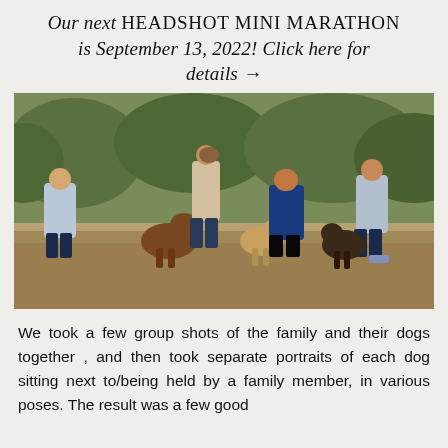Our next HEADSHOT MINI MARATHON is September 13, 2022! Click here for details →
[Figure (photo): A family of four people (two young males, one adult male, one adult female partially visible) posing outdoors on a dirt path with three dogs. Background shows green trees/shrubs. People wear blue and light shirts with jeans.]
We took a few group shots of the family and their dogs together , and then took separate portraits of each dog sitting next to/being held by a family member, in various poses. The result was a few good